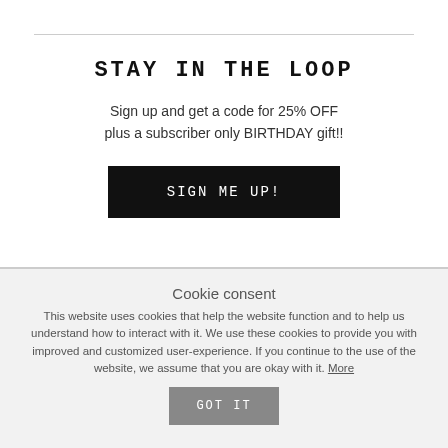STAY IN THE LOOP
Sign up and get a code for 25% OFF plus a subscriber only BIRTHDAY gift!!
SIGN ME UP!
Cookie consent
This website uses cookies that help the website function and to help us understand how to interact with it. We use these cookies to provide you with improved and customized user-experience. If you continue to the use of the website, we assume that you are okay with it. More
GOT IT